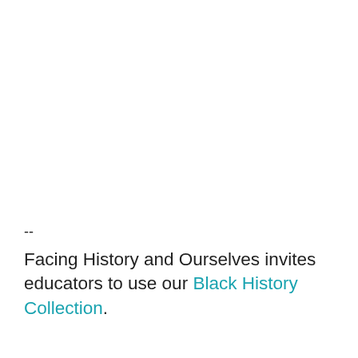--
Facing History and Ourselves invites educators to use our Black History Collection.
We use cookies to ensure you receive the best experience on our website. By continuing your visit on the website, you consent to the use of these cookies. To find out more about the cookies we use, access our Cookie Policy.

If you decline, certain site functionality might not be available to you.
Accept & Continue
Decline